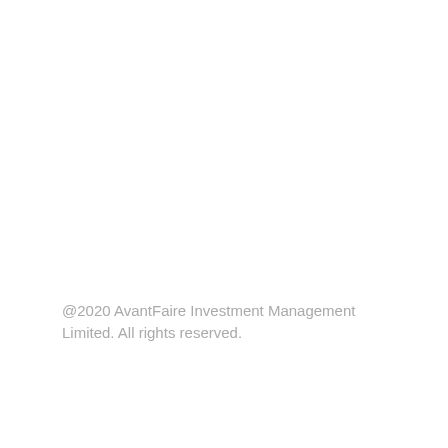@2020 AvantFaire Investment Management Limited. All rights reserved.